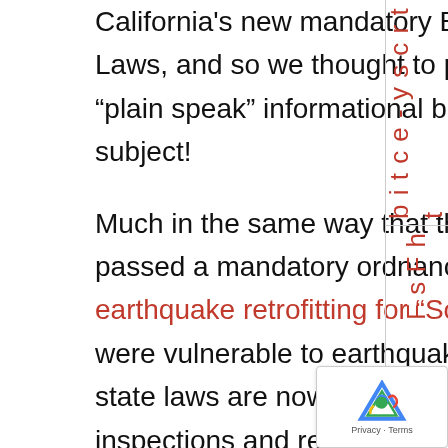California's new mandatory Balcony Inspection Laws, and so we thought to put together a short, "plain speak" informational blog post on the subject!
Much in the same way that the City of Los Angeles passed a mandatory ordnance that required earthquake retrofitting for "Soft Story" buildings that were vulnerable to earthquake damage, two new state laws are now requiring mandatory safety inspections and repair of damaged balconies and other "Elevated